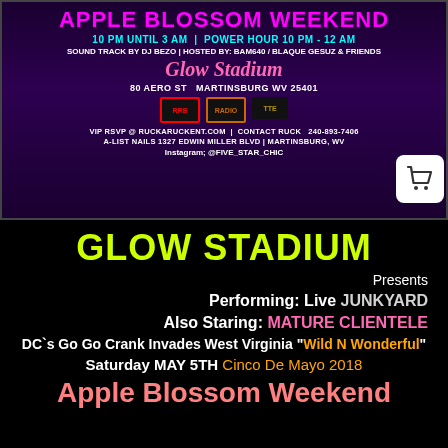[Figure (infographic): Event flyer for Apple Blossom Weekend at Glow Stadium. Dark purple background with pink/teal text. Shows event details: 10 PM until 3 AM, Power Hour 10 PM - 12 AM, Sound Track by DJ Bezo, Hosted by BAM640 / Blaque Gesuz & Friends. Address: 80 Aero St Martinsburg WV 25401. VIP RSVP @ RUCKARUCKENT.COM | Contact Ruck 240-893-7406. A-List Nails 1327 Edwin Miller Blvd | Martinsburg, WV. Instagram @FIVE_STAR_CHIC. Three sponsor logos shown.]
GLOW STADIUM
Presents
Performing: Live JUNKYARD
Also Staring: MATURE CLIENTELE
DC`s Go Go Crank Invades West Virginia "Wild N Wonderful"
Saturday MAY 5TH Cinco De Mayo 2018
Apple Blossom Weekend